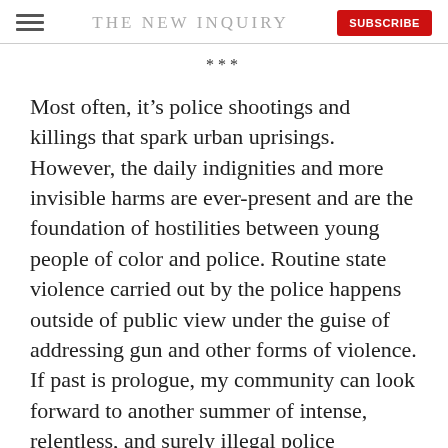THE NEW INQUIRY
***
Most often, it's police shootings and killings that spark urban uprisings. However, the daily indignities and more invisible harms are ever-present and are the foundation of hostilities between young people of color and police. Routine state violence carried out by the police happens outside of public view under the guise of addressing gun and other forms of violence. If past is prologue, my community can look forward to another summer of intense, relentless, and surely illegal police harassment of young people of color and specifically of young black men.